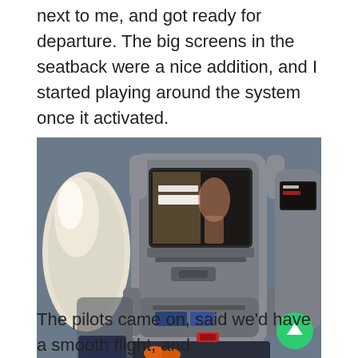next to me, and got ready for departure. The big screens in the seatback were a nice addition, and I started playing around the system once it activated.
[Figure (photo): Photo of airplane seatback entertainment screens showing screens embedded in seat headrests, with an airplane window visible on the left side, taken from the passenger's perspective looking at the seats in front.]
The pilots came on, said we'd have a smooth flight, and